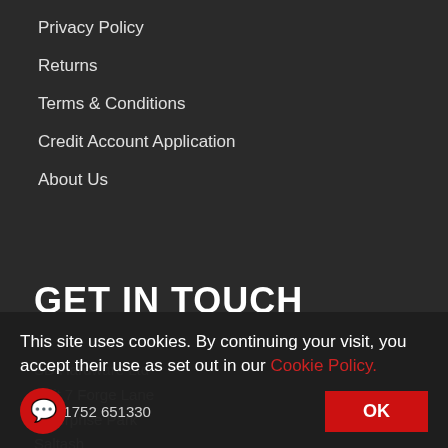Privacy Policy
Returns
Terms & Conditions
Credit Account Application
About Us
GET IN TOUCH
SD Hardware Ltd
Unit 7 Forge Lane
Enterprise Park
Saltash
Cornwall
PL12 6LX
ne: 01752 651330
This site uses cookies. By continuing your visit, you accept their use as set out in our Cookie Policy.
OK